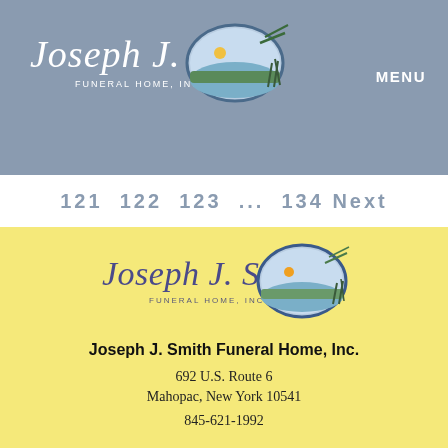Joseph J. Smith Funeral Home, Inc. — MENU
121 122 123 ... 134 Next
[Figure (logo): Joseph J. Smith Funeral Home, Inc. logo with oval landscape scene]
Joseph J. Smith Funeral Home, Inc.
692 U.S. Route 6
Mahopac, New York 10541
845-621-1992